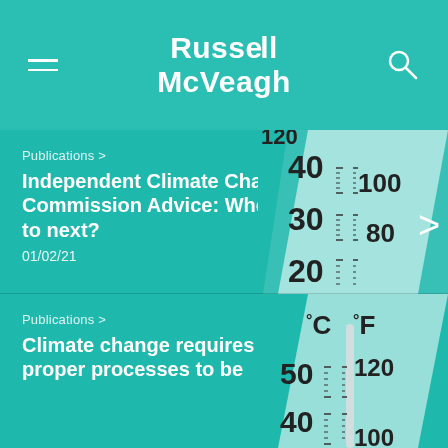Russell McVeagh
Publications > Independent Climate Change Commission Advice: Where to next? 01/02/21
[Figure (photo): Close-up of a thermometer showing scales in Celsius and Fahrenheit, with visible markings at 20, 30, 40 degrees Celsius and 80, 100, 120 degrees Fahrenheit]
Publications > Climate change requires proper processes to be